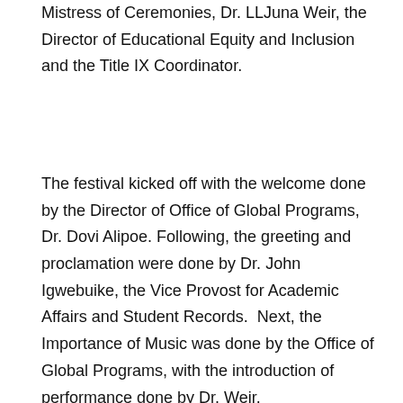Mistress of Ceremonies, Dr. LLJuna Weir, the Director of Educational Equity and Inclusion and the Title IX Coordinator.
The festival kicked off with the welcome done by the Director of Office of Global Programs, Dr. Dovi Alipoe. Following, the greeting and proclamation were done by Dr. John Igwebuike, the Vice Provost for Academic Affairs and Student Records.  Next, the Importance of Music was done by the Office of Global Programs, with the introduction of performance done by Dr. Weir.
Opening the show performances were the Taikoza Japanese Drum and Dancers.  Next, Nigerian members of the International and Multicultural Students Organization (IMSO) presented a musical performance. A Chinese Umbrella Dance was next on the program and was carried out by student, Jia Yuan of the Chinese Foreign Language Teaching